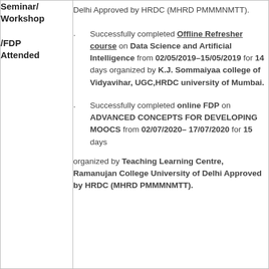Delhi Approved by HRDC (MHRD PMMMNMTT).
Seminar/ Workshop /FDP Attended
Successfully completed Offline Refresher course on Data Science and Artificial Intelligence from 02/05/2019–15/05/2019 for 14 days organized by K.J. Sommaiyaa college of Vidyavihar, UGC,HRDC university of Mumbai.
Successfully completed online FDP on ADVANCED CONCEPTS FOR DEVELOPING MOOCS from 02/07/2020– 17/07/2020 for 15 days organized by Teaching Learning Centre, Ramanujan College University of Delhi Approved by HRDC (MHRD PMMMNMTT).